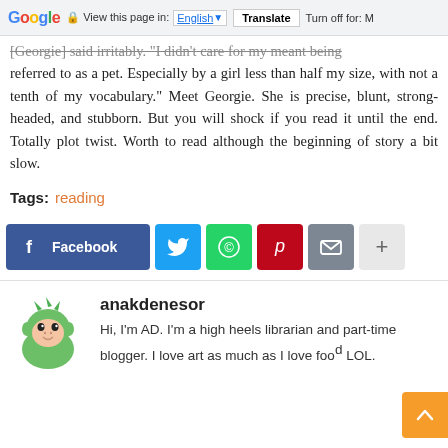Google  View this page in: English [▼]  Translate  Turn off for: M
[Georgie] said irritably. "I didn't care for my meant being referred to as a pet. Especially by a girl less than half my size, with not a tenth of my vocabulary." Meet Georgie. She is precise, blunt, strong-headed, and stubborn. But you will shock if you read it until the end. Totally plot twist. Worth to read although the beginning of story a bit slow.
Tags: reading
[Figure (infographic): Social share buttons: Facebook, Twitter, WhatsApp, Pinterest, Email, More (+)]
[Figure (illustration): Author avatar: cartoon green dinosaur character]
anakdenesor
Hi, I'm AD. I'm a high heels librarian and part-time blogger. I love art as much as I love food LOL.